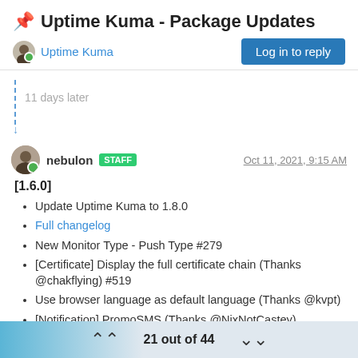📌 Uptime Kuma - Package Updates
Uptime Kuma
Log in to reply
11 days later
nebulon STAFF  Oct 11, 2021, 9:15 AM
[1.6.0]
Update Uptime Kuma to 1.8.0
Full changelog
New Monitor Type - Push Type #279
[Certificate] Display the full certificate chain (Thanks @chakflying) #519
Use browser language as default language (Thanks @kvpt)
[Notification] PromoSMS (Thanks @NixNotCastey)
[Notification] Matrix (Thanks @Empty2k12)
[Notification] Legacy Octopush (Thanks @DeeJayPee)
21 out of 44